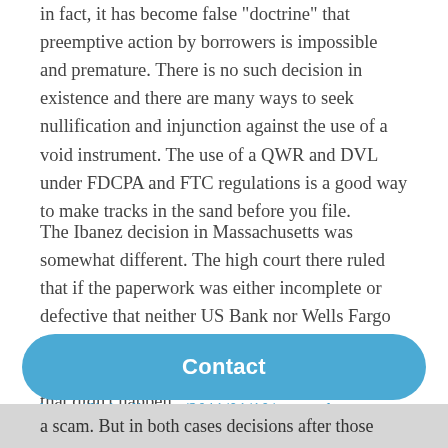in fact, it has become false 'doctrine' that preemptive action by borrowers is impossible and premature. There is no such decision in existence and there are many ways to seek nullification and injunction against the use of a void instrument. The use of a QWR and DVL under FDCPA and FTC regulations is a good way to make tracks in the sand before you file.
The Ibanez decision in Massachusetts was somewhat different. The high court there ruled that if the paperwork was either incomplete or defective that neither US Bank nor Wells Fargo had any right to foreclose. That meant that most foreclosures in the state had to be redone — but that didn't happen.
see https://livinglies.me/2011/01/10/massachusetts-ibanez-is-shot-heard-around-the-world/
Contact
a scam. But in both cases decisions after those